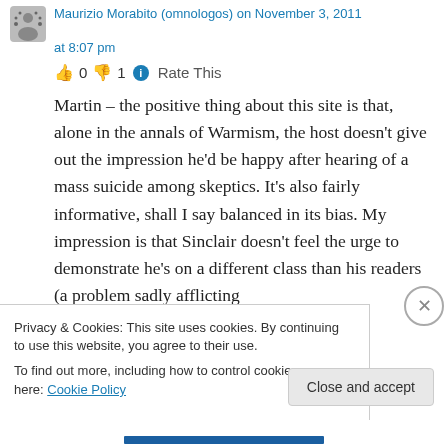Maurizio Morabito (omnologos) on November 3, 2011 at 8:07 pm
👍 0 👎 1 ℹ Rate This
Martin – the positive thing about this site is that, alone in the annals of Warmism, the host doesn't give out the impression he'd be happy after hearing of a mass suicide among skeptics. It's also fairly informative, shall I say balanced in its bias. My impression is that Sinclair doesn't feel the urge to demonstrate he's on a different class than his readers (a problem sadly afflicting
Privacy & Cookies: This site uses cookies. By continuing to use this website, you agree to their use.
To find out more, including how to control cookies, see here: Cookie Policy
Close and accept